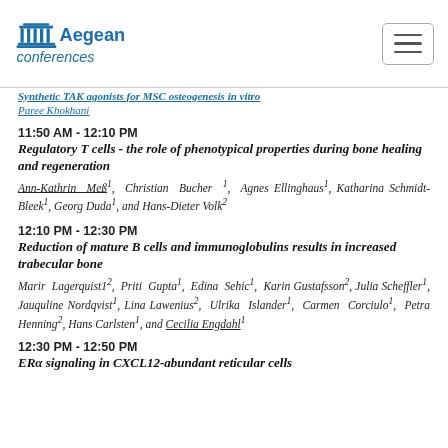Aegean Conferences
Synthetic TAK agonists for MSC osteogenesis in vitro
Paree Khokhani
11:50 AM - 12:10 PM
Regulatory T cells - the role of phenotypical properties during bone healing and regeneration
Ann-Kathrin Meß¹, Christian Bucher ¹, Agnes Ellinghaus¹, Katharina Schmidt-Bleek¹, Georg Duda¹, and Hans-Dieter Volk²
12:10 PM - 12:30 PM
Reduction of mature B cells and immunoglobulins results in increased trabecular bone
Marir Lagerquist1², Priti Gupta¹, Edina Sehic¹, Karin Gustafsson², Julia Scheffler¹, Jauquline Nordqvist¹, Lina Lawenius², Ulrika Islander¹, Carmen Corciulo¹, Petra Henning², Hans Carlsten¹, and Cecilia Engdahl¹
12:30 PM - 12:50 PM
ERα signaling in CXCL12-abundant reticular cells